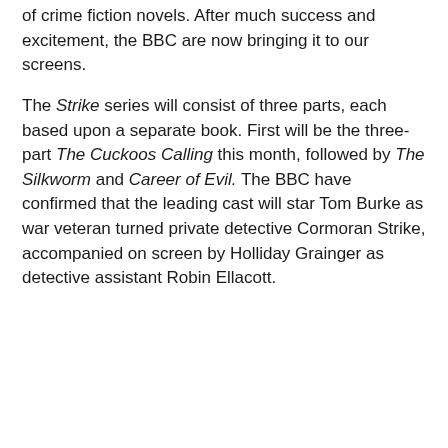of crime fiction novels. After much success and excitement, the BBC are now bringing it to our screens.
The Strike series will consist of three parts, each based upon a separate book. First will be the three-part The Cuckoos Calling this month, followed by The Silkworm and Career of Evil. The BBC have confirmed that the leading cast will star Tom Burke as war veteran turned private detective Cormoran Strike, accompanied on screen by Holliday Grainger as detective assistant Robin Ellacott.